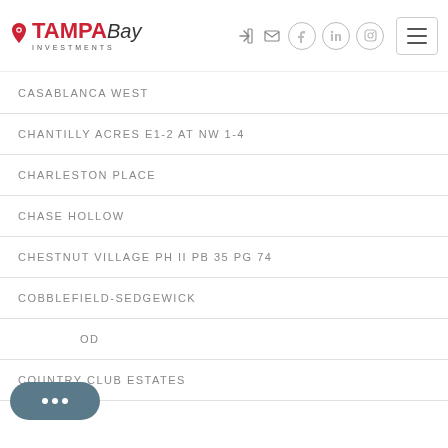Tampa Bay Investments
CASABLANCA WEST
CHANTILLY ACRES E1-2 AT NW 1-4
CHARLESTON PLACE
CHASE HOLLOW
CHESTNUT VILLAGE PH II PB 35 PG 74
COBBLEFIELD-SEDGEWICK
...OD
COUNTRY CLUB ESTATES